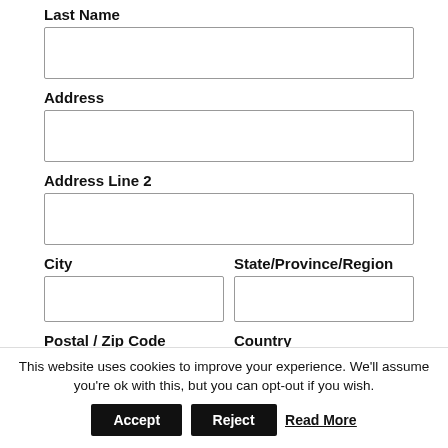Last Name
Address
Address Line 2
City
State/Province/Region
Postal / Zip Code
Country
This website uses cookies to improve your experience. We'll assume you're ok with this, but you can opt-out if you wish.
Accept
Reject
Read More